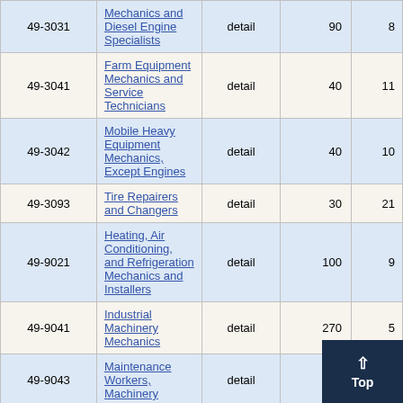| Code | Title | Type | Col4 | Col5 |
| --- | --- | --- | --- | --- |
| 49-3031 | Mechanics and Diesel Engine Specialists | detail | 90 | 8... |
| 49-3041 | Farm Equipment Mechanics and Service Technicians | detail | 40 | 11... |
| 49-3042 | Mobile Heavy Equipment Mechanics, Except Engines | detail | 40 | 10... |
| 49-3093 | Tire Repairers and Changers | detail | 30 | 21... |
| 49-9021 | Heating, Air Conditioning, and Refrigeration Mechanics and Installers | detail | 100 | 9... |
| 49-9041 | Industrial Machinery Mechanics | detail | 270 | 5... |
| 49-9043 | Maintenance Workers, Machinery | detail | 60 | 8... |
| 49-9044 | Millwrights | detail | 3... |  |
| 49-8851 | Electrical Power-... | detail | 100... | 1... |